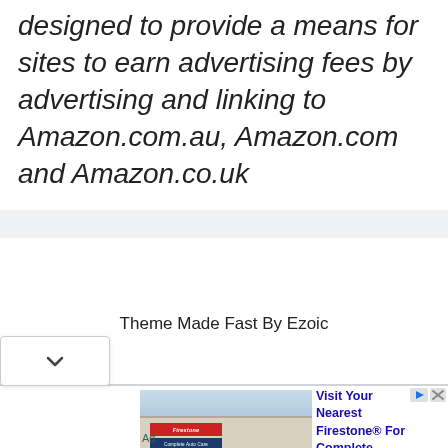designed to provide a means for sites to earn advertising fees by advertising and linking to Amazon.com.au, Amazon.com and Amazon.co.uk
Theme Made Fast By Ezoic
[Figure (screenshot): Advertisement banner showing a Firestone auto service store building photo on the left and bold blue text on the right reading: Visit Your Nearest Firestone® For Complete Service For Your Vehicle By Expert Technicians. Ad label at bottom left.]